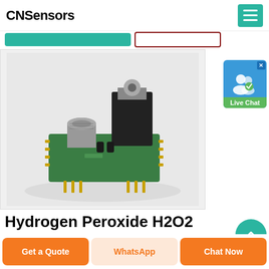CNSensors
[Figure (photo): A small green PCB circuit board with a cylindrical metal gas sensor component and a TO-220 packaged transistor/regulator, mounted on DIP pins, photographed on a white/gray background.]
[Figure (other): Live Chat widget with user icon and green label]
Hydrogen Peroxide H2O2 Gas Sensor 500 Ppm Detecto...
Get a Quote
WhatsApp
Chat Now